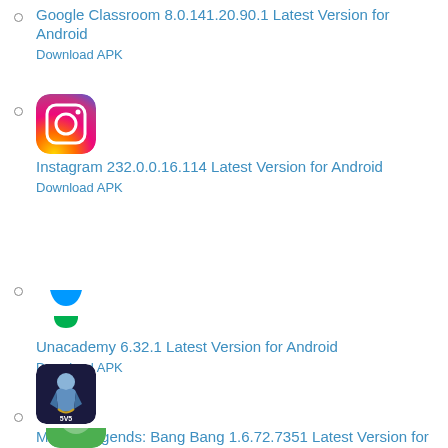Google Classroom 8.0.141.20.90.1 Latest Version for Android
Download APK
[Figure (logo): Instagram app icon - gradient background from purple/pink to orange/yellow with white camera outline]
Instagram 232.0.0.16.114 Latest Version for Android
Download APK
[Figure (logo): Unacademy app icon - blue bowl/torch shape on white background]
Unacademy 6.32.1 Latest Version for Android
Download APK
[Figure (logo): Mobile Legends Bang Bang app icon - game character with 5v5 label]
Mobile Legends: Bang Bang 1.6.72.7351 Latest Version for Android
Download APK
[Figure (logo): Partial green app icon at bottom]